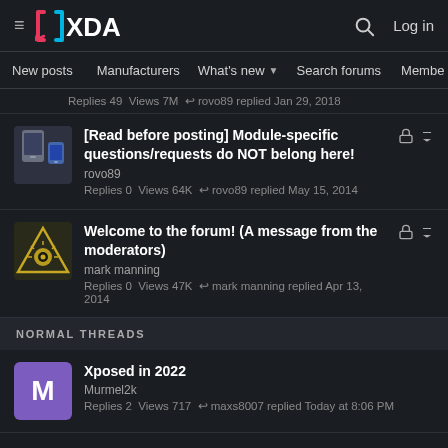XDA — Log in
New posts  Manufacturers  What's new  Search forums  Members  >
Replies 49  Views 7M  ↩ rovo89 replied Jan 29, 2018
[Read before posting] Module-specific questions/requests do NOT belong here!
rovo89
Replies 0  Views 64K  ↩ rovo89 replied May 15, 2014
Welcome to the forum! (A message from the moderators)
mark manning
Replies 0  Views 47K  ↩ mark manning replied Apr 13, 2014
NORMAL THREADS
Xposed in 2022
Murmel2k
Replies 2  Views 717  ↩ maxs8007 replied Today at 8:06 PM